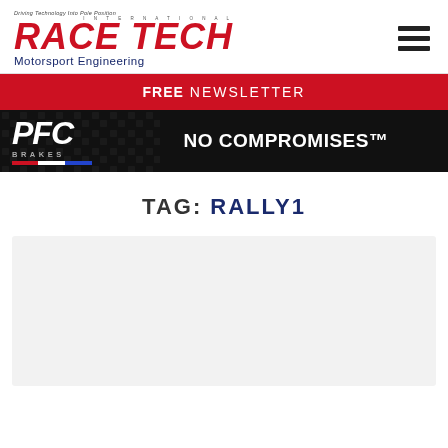[Figure (logo): Race Tech International Motorsport Engineering logo with red bold italic text and blue subtitle]
[Figure (logo): Hamburger menu icon with three horizontal bars]
FREE NEWSLETTER
[Figure (logo): PFC Brakes advertisement banner with black background, PFC logo on left and NO COMPROMISES text on right]
TAG: RALLY1
[Figure (photo): Light gray content card placeholder area]